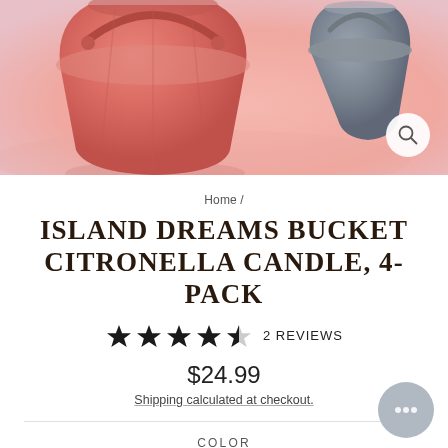[Figure (photo): Product photo showing a coral/salmon pink metal bucket candle container in front, and a grey/blue bucket in the background, on a pink surface.]
Home /
ISLAND DREAMS BUCKET CITRONELLA CANDLE, 4-PACK
★★★★½ 2 REVIEWS
$24.99
Shipping calculated at checkout.
COLOR
Deep Sea Coral | Eggshell Blue | Copen Blue